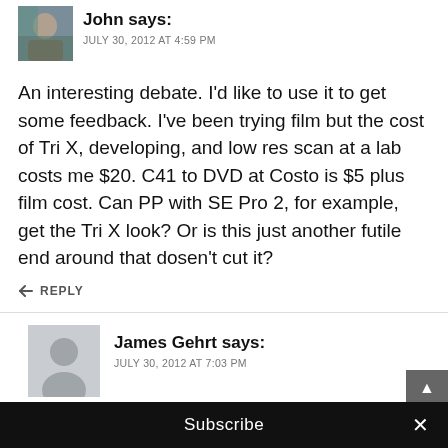John says: JULY 30, 2012 AT 4:59 PM
An interesting debate. I'd like to use it to get some feedback. I've been trying film but the cost of Tri X, developing, and low res scan at a lab costs me $20. C41 to DVD at Costo is $5 plus film cost. Can PP with SE Pro 2, for example, get the Tri X look? Or is this just another futile end around that dosen't cut it?
REPLY
James Gehrt says: JULY 30, 2012 AT 7:03 PM
Hi John, I use to shoot tri x 120 and 35 mm, bo…
Subscribe